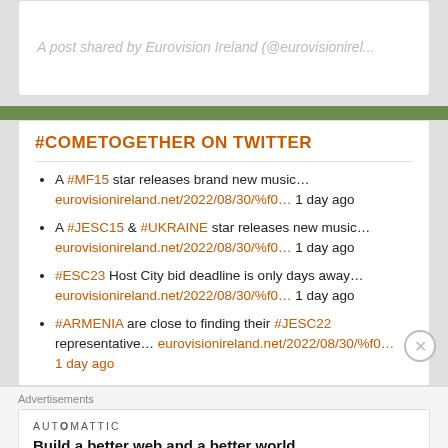A post shared by Eurovision Ireland (@eurovisionirel...
#COMETOGETHER ON TWITTER
A #MF15 star releases brand new music… eurovisionireland.net/2022/08/30/%f0… 1 day ago
A #JESC15 & #UKRAINE star releases new music… eurovisionireland.net/2022/08/30/%f0… 1 day ago
#ESC23 Host City bid deadline is only days away… eurovisionireland.net/2022/08/30/%f0… 1 day ago
#ARMENIA are close to finding their #JESC22 representative… eurovisionireland.net/2022/08/30/%f0… 1 day ago
Advertisements
AUTOMATTIC — Build a better web and a better world.